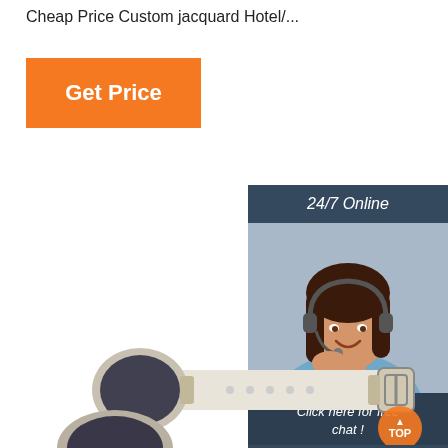Cheap Price Custom jacquard Hotel/...
[Figure (other): Orange 'Get Price' button]
[Figure (other): 24/7 Online customer service chat widget with photo of woman with headset, 'Click here for free chat!' text, and orange QUOTATION button]
[Figure (other): RFID wristband product photo - white strap with dark oval NFC disc and metal buckle, with orange TOP badge overlay]
[Figure (other): Partial view of another wristband product at bottom of page]